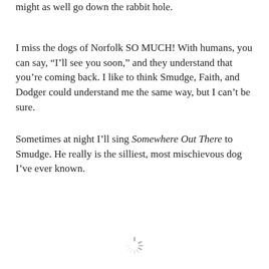might as well go down the rabbit hole.
I miss the dogs of Norfolk SO MUCH! With humans, you can say, “I’ll see you soon,” and they understand that you’re coming back. I like to think Smudge, Faith, and Dodger could understand me the same way, but I can’t be sure.
Sometimes at night I’ll sing Somewhere Out There to Smudge. He really is the silliest, most mischievous dog I’ve ever known.
[Figure (other): Loading spinner icon (circular dashed spinner graphic)]